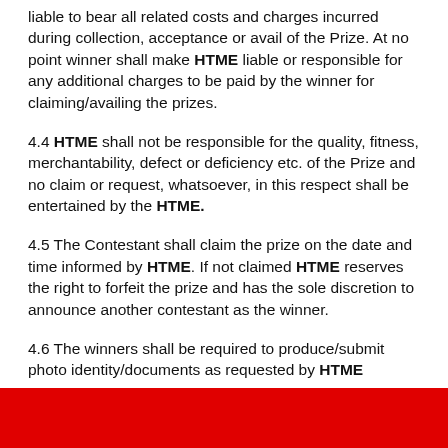liable to bear all related costs and charges incurred during collection, acceptance or avail of the Prize. At no point winner shall make HTME liable or responsible for any additional charges to be paid by the winner for claiming/availing the prizes.
4.4 HTME shall not be responsible for the quality, fitness, merchantability, defect or deficiency etc. of the Prize and no claim or request, whatsoever, in this respect shall be entertained by the HTME.
4.5 The Contestant shall claim the prize on the date and time informed by HTME. If not claimed HTME reserves the right to forfeit the prize and has the sole discretion to announce another contestant as the winner.
4.6 The winners shall be required to produce/submit photo identity/documents as requested by HTME.